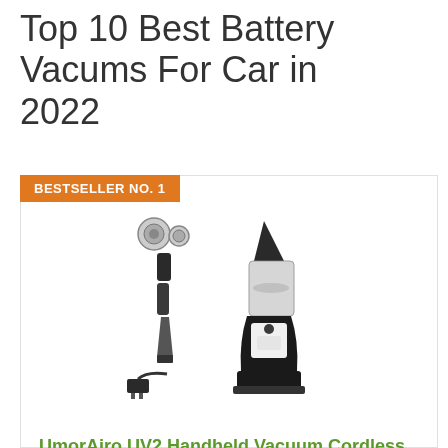Top 10 Best Battery Vacums For Car in 2022
BESTSELLER NO. 1
[Figure (photo): UmorAiro UV2 handheld cordless vacuum cleaner shown with accessories: filters, extension tubes, nozzle, charging base and power adapter. White and black design.]
UmorAiro UV2 Handheld Vacuum Cordless, 8500Pa Strong Suction Hand Vacuum Powered by 2-3H Fast Charge Rechargeable